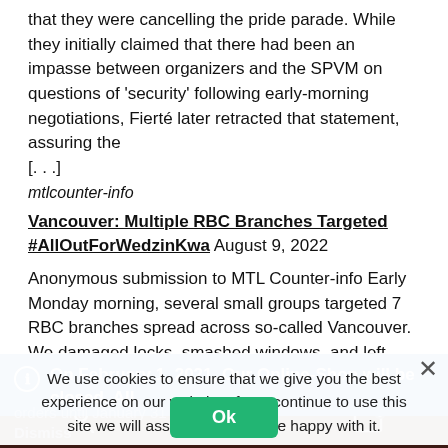that they were cancelling the pride parade. While they initially claimed that there had been an impasse between organizers and the SPVM on questions of 'security' following early-morning negotiations, Fierté later retracted that statement, assuring the [...]
mtlcounter-info
Vancouver: Multiple RBC Branches Targeted
#AllOutForWedzinKwa August 9, 2022
Anonymous submission to MTL Counter-info Early Monday morning, several small groups targeted 7 RBC branches spread across so-called Vancouver. We damaged locks, smashed windows, and left messages. RBC continues to provide funding for the Coastal
On February 1, 2021, Our Online-Shop will be closed. All orders until January 31 will be delivered
Dismiss
We use cookies to ensure that we give you the best experience on our website. If you continue to use this site we will assume that you are happy with it.
Ok